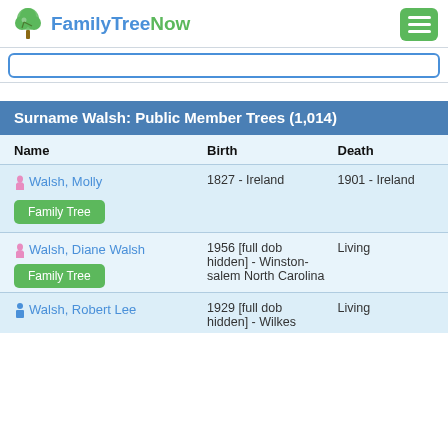FamilyTreeNow
| Name | Birth | Death |
| --- | --- | --- |
| Walsh, Molly | 1827 - Ireland | 1901 - Ireland |
| Walsh, Diane Walsh | 1956 [full dob hidden] - Winston-salem North Carolina | Living |
| Walsh, Robert Lee | 1929 [full dob hidden] - Wilkes | Living |